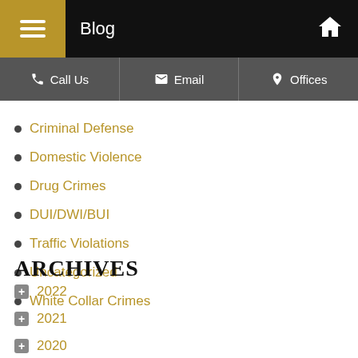Blog
Call Us | Email | Offices
Criminal Defense
Domestic Violence
Drug Crimes
DUI/DWI/BUI
Traffic Violations
Uncategorized
White Collar Crimes
ARCHIVES
2022
2021
2020